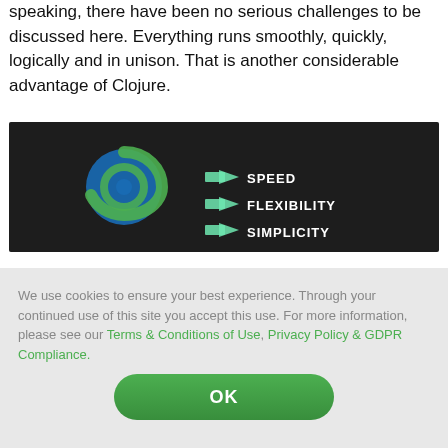speaking, there have been no serious challenges to be discussed here. Everything runs smoothly, quickly, logically and in unison. That is another considerable advantage of Clojure.
[Figure (infographic): Dark background image of hands on a keyboard with the Clojure logo (blue and green circular swirl) on the left and three green arrows pointing right to the words SPEED, FLEXIBILITY, SIMPLICITY]
We use cookies to ensure your best experience. Through your continued use of this site you accept this use. For more information, please see our Terms & Conditions of Use, Privacy Policy & GDPR Compliance.